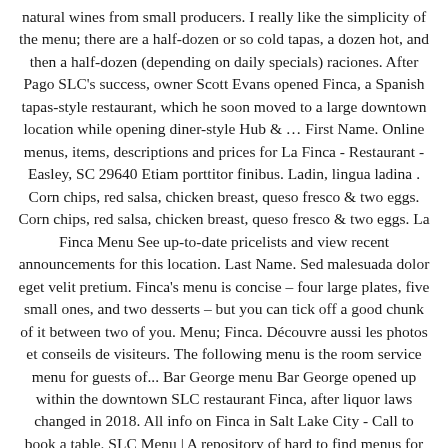natural wines from small producers. I really like the simplicity of the menu; there are a half-dozen or so cold tapas, a dozen hot, and then a half-dozen (depending on daily specials) raciones. After Pago SLC's success, owner Scott Evans opened Finca, a Spanish tapas-style restaurant, which he soon moved to a large downtown location while opening diner-style Hub & … First Name. Online menus, items, descriptions and prices for La Finca - Restaurant - Easley, SC 29640 Etiam porttitor finibus. Ladin, lingua ladina . Corn chips, red salsa, chicken breast, queso fresco & two eggs. Corn chips, red salsa, chicken breast, queso fresco & two eggs. La Finca Menu See up-to-date pricelists and view recent announcements for this location. Last Name. Sed malesuada dolor eget velit pretium. Finca's menu is concise – four large plates, five small ones, and two desserts – but you can tick off a good chunk of it between two of you. Menu; Finca. Découvre aussi les photos et conseils de visiteurs. The following menu is the room service menu for guests of... Bar George menu Bar George opened up within the downtown SLC restaurant Finca, after liquor laws changed in 2018. All info on Finca in Salt Lake City - Call to book a table. SLC Menu | A repository of hard to find menus for Salt Lake City restaurants. Spanish, Vegetarian options. Choose one: bacon, ham, or turkey links. English muffin, bacon, poached eggs & hollandaise. In this new age of luxury, extravagance, and if you didn't-post-it-you-did't-eat-it; sometimes a young professional has to indulge. At Finca, they feature Spanish cuisine made from